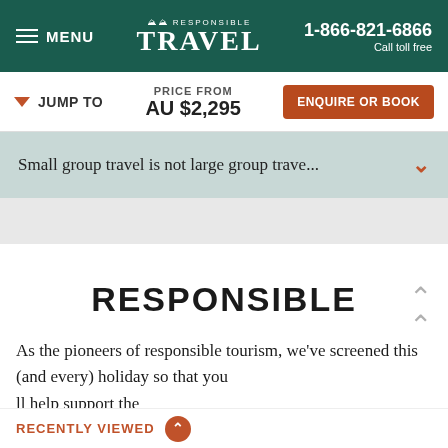MENU | RESPONSIBLE TRAVEL | 1-866-821-6866 Call toll free
JUMP TO | PRICE FROM AU $2,295 | ENQUIRE OR BOOK
Small group travel is not large group trave...
RESPONSIBLE TRAVEL
As the pioneers of responsible tourism, we've screened this (and every) holiday so that you ll help support the ou visit, and the planet.
RECENTLY VIEWED